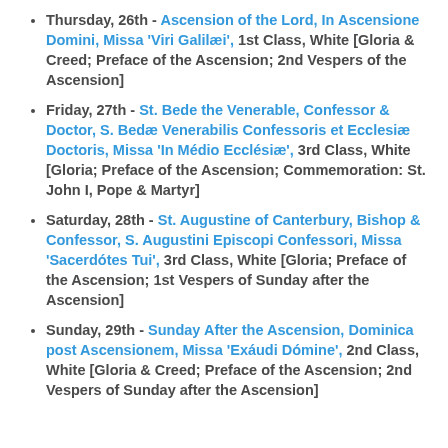Thursday, 26th - Ascension of the Lord, In Ascensione Domini, Missa 'Viri Galilæi',  1st Class, White  [Gloria & Creed; Preface of the Ascension; 2nd Vespers of the Ascension]
Friday, 27th - St. Bede the Venerable, Confessor & Doctor, S. Bedæ Venerabilis Confessoris et Ecclesiæ Doctoris, Missa 'In Médio Ecclésiæ',  3rd Class, White  [Gloria; Preface of the Ascension; Commemoration: St. John I, Pope & Martyr]
Saturday, 28th - St. Augustine of Canterbury, Bishop & Confessor, S. Augustini Episcopi Confessori, Missa 'Sacerdótes Tui',  3rd Class, White  [Gloria; Preface of the Ascension; 1st Vespers of Sunday after the Ascension]
Sunday, 29th - Sunday After the Ascension, Dominica post Ascensionem, Missa 'Exáudi Dómine',  2nd Class, White  [Gloria & Creed; Preface of the Ascension; 2nd Vespers of Sunday after the Ascension]